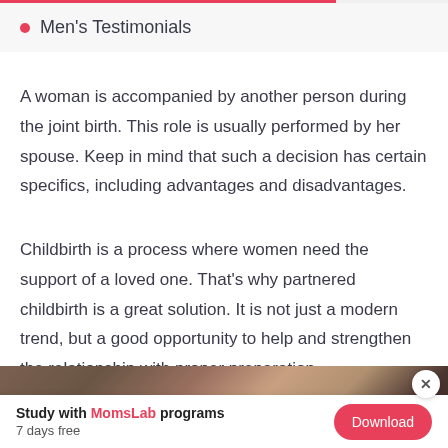Men's Testimonials
A woman is accompanied by another person during the joint birth. This role is usually performed by her spouse. Keep in mind that such a decision has certain specifics, including advantages and disadvantages.
Childbirth is a process where women need the support of a loved one. That's why partnered childbirth is a great solution. It is not just a modern trend, but a good opportunity to help and strengthen the relationship with proper preparation.
[Figure (photo): Partial photo strip visible at bottom of page]
Study with MomsLab programs
7 days free